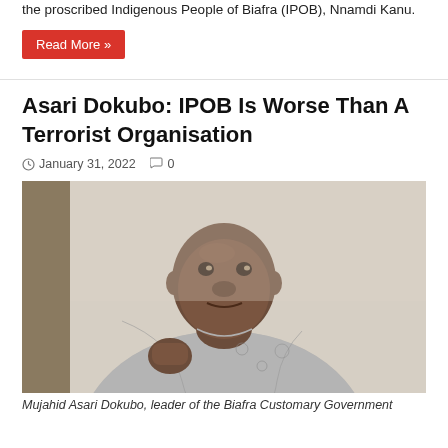the proscribed Indigenous People of Biafra (IPOB), Nnamdi Kanu.
Read More »
Asari Dokubo: IPOB Is Worse Than A Terrorist Organisation
January 31, 2022   0
[Figure (photo): Photo of Mujahid Asari Dokubo, a heavyset man in a patterned grey and white shirt, raising his fist]
Mujahid Asari Dokubo, leader of the Biafra Customary Government